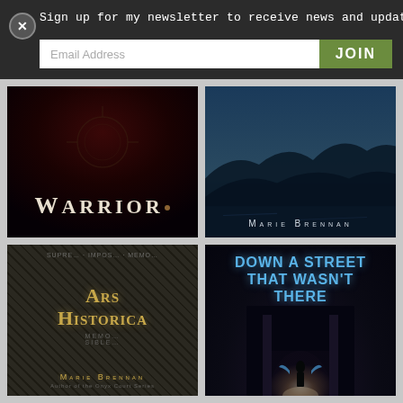Sign up for my newsletter to receive news and updates!
Email Address
JOIN
[Figure (illustration): Book cover: WARRIOR — dark red/black background with ornamental design, white serif text]
[Figure (illustration): Book cover: MARIE BRENNAN — dark blue landscape with hills and water]
[Figure (illustration): Book cover: ARS HISTORICA — stone-textured dark background with gold ornate lettering, MARIE BRENNAN author name, Author of the Onyx Court Series]
[Figure (illustration): Book cover: DOWN A STREET THAT WASN'T THERE — dark corridor/temple with figure silhouette and glowing wings, MARIE BRENNAN author name, blue title text]